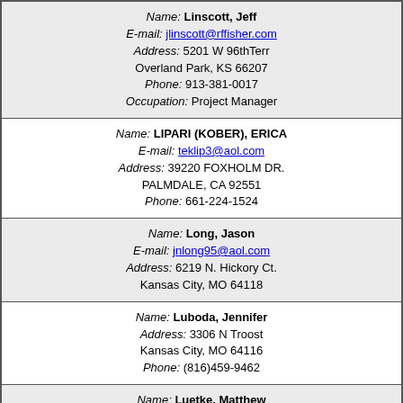| Linscott, Jeff | jlinscott@rffisher.com | 5201 W 96thTerr, Overland Park, KS 66207 | 913-381-0017 | Project Manager |
| LIPARI (KOBER), ERICA | teklip3@aol.com | 39220 FOXHOLM DR., PALMDALE, CA 92551 | 661-224-1524 |  |
| Long, Jason | jnlong95@aol.com | 6219 N. Hickory Ct., Kansas City, MO 64118 |  |  |
| Luboda, Jennifer |  | 3306 N Troost, Kansas City, MO 64116 | (816)459-9462 |  |
| Luetke, Matthew | mdluetke@yahoo.com | 919 Swallow Circle, Liberty, MO 64068 | (816)415-4703 |  |